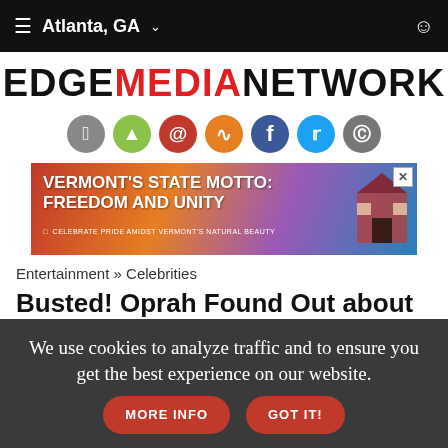≡ Atlanta, GA ∨
[Figure (logo): EDGE MEDIA NETWORK logo in black and red bold text]
[Figure (infographic): Social media icons row: Apple, Android, Email, RSS, Facebook, Twitter, Instagram]
[Figure (infographic): Advertisement banner: VERMONT'S STATE MOTTO: FREEDOM AND UNITY - CELEBRATE PRIDE AMIDST VERMONT'S NATURAL BEAUTY]
Entertainment » Celebrities
Busted! Oprah Found Out about Colman Domingo's Outrageous 'Big Gay Sketch Show' Impersonation
We use cookies to analyze traffic and to ensure you get the best experience on our website. MORE INFO GOT IT!